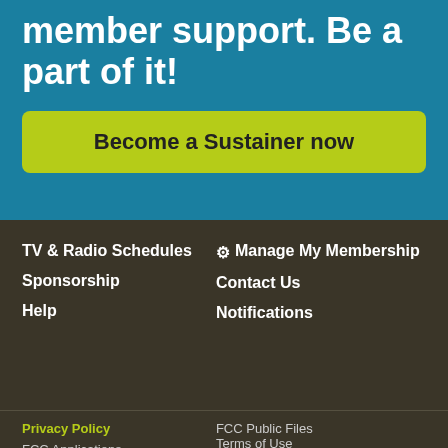member support. Be a part of it!
Become a Sustainer now
TV & Radio Schedules
Sponsorship
Help
Manage My Membership
Contact Us
Notifications
Privacy Policy
FCC Applications
FCC Public Files
Terms of Use
STREAMING NOW The Takeaway